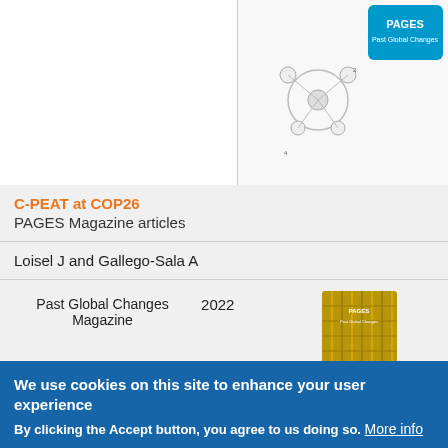[Figure (illustration): Top right section showing a PAGES logo and scientific diagram/illustration on light background]
| Title/Authors/Journal | Year | Image |
| --- | --- | --- |
| C-PEAT at COP26 / PAGES Magazine articles |  |  |
| Loisel J and Gallego-Sala A |  |  |
| Past Global Changes Magazine | 2022 |  |
We use cookies on this site to enhance your user experience
By clicking the Accept button, you agree to us doing so. More info